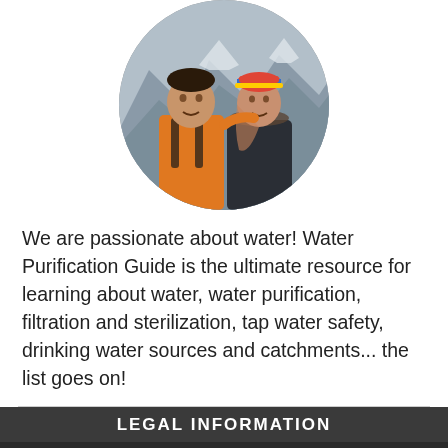[Figure (photo): Circular cropped photo of two people in outdoor/mountain gear smiling, with snowy mountain background. Person on left in orange jacket with backpack, person on right in dark jacket with colorful hat.]
We are passionate about water! Water Purification Guide is the ultimate resource for learning about water, water purification, filtration and sterilization, tap water safety, drinking water sources and catchments... the list goes on!
LEGAL INFORMATION
[Figure (infographic): Pure Earth advertisement banner. Left text: 'We believe the global pollution crisis can be solved.' (can be solved in green). Middle text: 'In a world where pollution doesn't stop at borders, we can all be part of the solution. JOIN US.' Right: Pure Earth logo with diamond/triangle icon.]